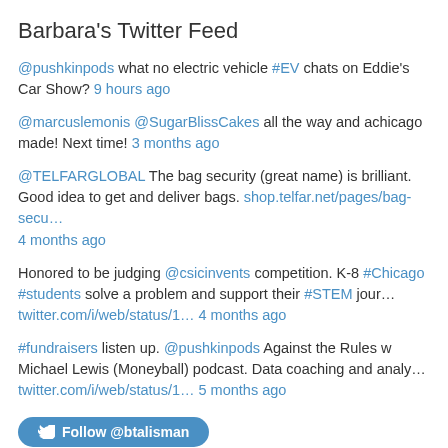Barbara's Twitter Feed
@pushkinpods what no electric vehicle #EV chats on Eddie's Car Show? 9 hours ago
@marcuslemonis @SugarBlissCakes all the way and achicago made! Next time! 3 months ago
@TELFARGLOBAL The bag security (great name) is brilliant. Good idea to get and deliver bags. shop.telfar.net/pages/bag-secu… 4 months ago
Honored to be judging @csicinvents competition. K-8 #Chicago #students solve a problem and support their #STEM jour… twitter.com/i/web/status/1… 4 months ago
#fundraisers listen up. @pushkinpods Against the Rules w Michael Lewis (Moneyball) podcast. Data coaching and analy… twitter.com/i/web/status/1… 5 months ago
Follow @btalisman